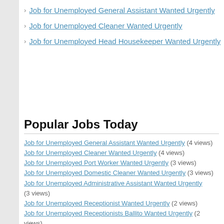Job for Unemployed General Assistant Wanted Urgently
Job for Unemployed Cleaner Wanted Urgently
Job for Unemployed Head Housekeeper Wanted Urgently
Popular Jobs Today
Job for Unemployed General Assistant Wanted Urgently (4 views)
Job for Unemployed Cleaner Wanted Urgently (4 views)
Job for Unemployed Port Worker Wanted Urgently (3 views)
Job for Unemployed Domestic Cleaner Wanted Urgently (3 views)
Job for Unemployed Administrative Assistant Wanted Urgently (3 views)
Job for Unemployed Receptionist Wanted Urgently (2 views)
Job for Unemployed Receptionists Ballito Wanted Urgently (2 views)
Job for Unemployed Store Cleaner Wanted Urgently (2 views)
Job for Unemployed Medirite Courier Pharmacy Wanted Urgently (2 views)
Job for Unemployed Despatch Supervisor Wanted Urgently (2 views)